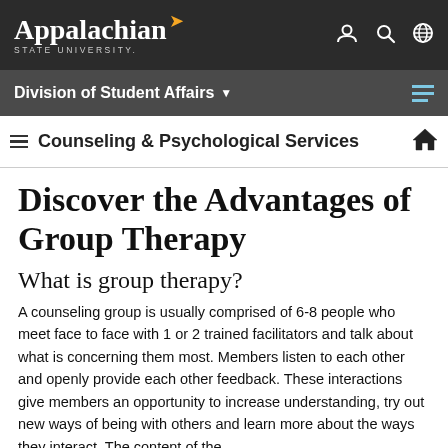[Figure (logo): Appalachian State University logo with stylized bird in gold and white text on dark background, plus navigation icons (person, search, globe)]
Division of Student Affairs
Counseling & Psychological Services
Discover the Advantages of Group Therapy
What is group therapy?
A counseling group is usually comprised of 6-8 people who meet face to face with 1 or 2 trained facilitators and talk about what is concerning them most. Members listen to each other and openly provide each other feedback. These interactions give members an opportunity to increase understanding, try out new ways of being with others and learn more about the ways they interact. The content of the